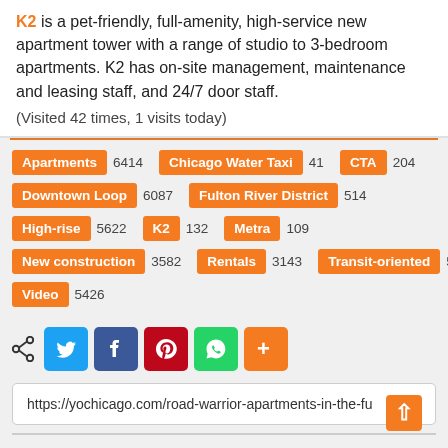K2 is a pet-friendly, full-amenity, high-service new apartment tower with a range of studio to 3-bedroom apartments. K2 has on-site management, maintenance and leasing staff, and 24/7 door staff.
(Visited 42 times, 1 visits today)
Apartments 6414 | Chicago Water Taxi 41 | CTA 204 | Downtown Loop 6087 | Fulton River District 514 | High-rise 5622 | K2 132 | Metra 109 | New construction 3582 | Rentals 3143 | Transit-oriented 51 | Video 5426
[Figure (infographic): Social share buttons: Twitter (blue), Facebook (dark blue), Pinterest (red), WhatsApp (green), More (orange/plus)]
https://yochicago.com/road-warrior-apartments-in-the-fu